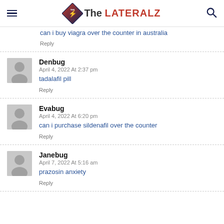The LATERALZ
can i buy viagra over the counter in australia
Reply
Denbug
April 4, 2022 At 2:37 pm
tadalafil pill
Reply
Evabug
April 4, 2022 At 6:20 pm
can i purchase sildenafil over the counter
Reply
Janebug
April 7, 2022 At 5:16 am
prazosin anxiety
Reply